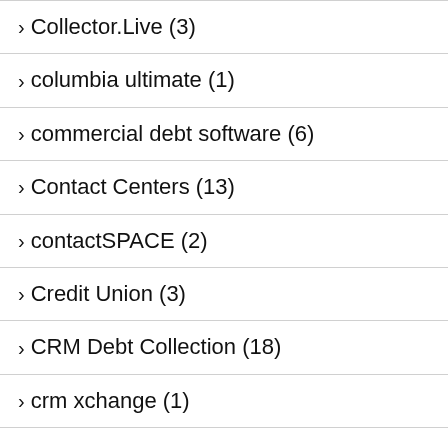> Collector.Live (3)
> columbia ultimate (1)
> commercial debt software (6)
> Contact Centers (13)
> contactSPACE (2)
> Credit Union (3)
> CRM Debt Collection (18)
> crm xchange (1)